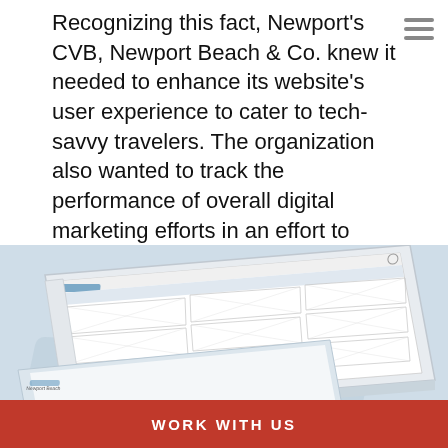Recognizing this fact, Newport's CVB, Newport Beach & Co. knew it needed to enhance its website's user experience to cater to tech-savvy travelers. The organization also wanted to track the performance of overall digital marketing efforts in an effort to drive more visitors to the area.
[Figure (screenshot): A tablet/iPad shown in perspective view displaying a wireframe/mockup of a website for Newport Beach. The wireframe shows a grid-based layout with placeholder images and text blocks. Multiple overlapping tablet frames are visible. Background is light blue-grey.]
WORK WITH US